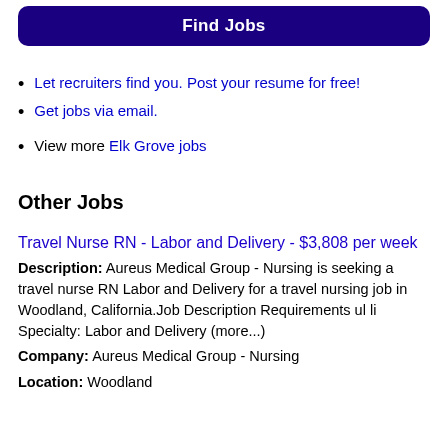Find Jobs
Let recruiters find you. Post your resume for free!
Get jobs via email.
View more Elk Grove jobs
Other Jobs
Travel Nurse RN - Labor and Delivery - $3,808 per week
Description: Aureus Medical Group - Nursing is seeking a travel nurse RN Labor and Delivery for a travel nursing job in Woodland, California.Job Description Requirements ul li Specialty: Labor and Delivery (more...)
Company: Aureus Medical Group - Nursing
Location: Woodland